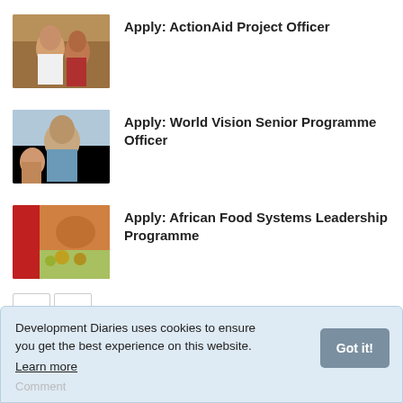Apply: ActionAid Project Officer
Apply: World Vision Senior Programme Officer
Apply: African Food Systems Leadership Programme
Development Diaries uses cookies to ensure you get the best experience on this website. Learn more
Got it!
Comment